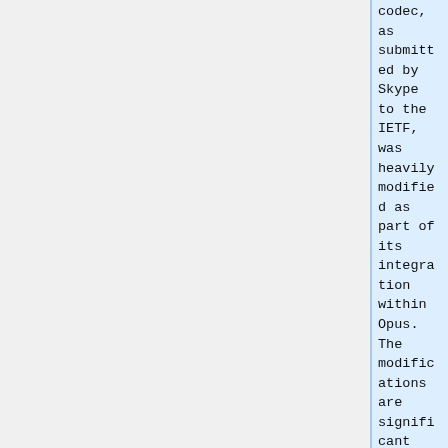codec, as submitted by Skype to the IETF, was heavily modified as part of its integration within Opus. The modifications are significant enough that it is not possible to just write a "translator". Even sharing code between Opus and the "old